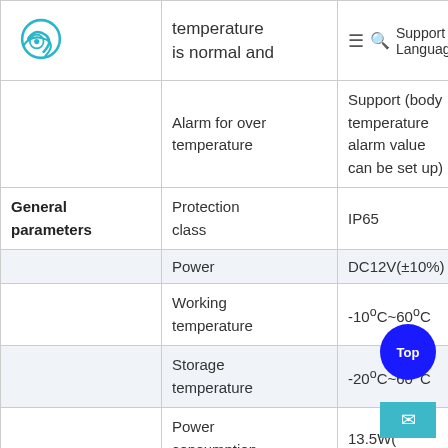|  | Feature | Specification |
| --- | --- | --- |
|  | temperature is normal and | Support Language |
|  | Alarm for over temperature | Support (body temperature alarm value can be set up) |
| General parameters | Protection class | IP65 |
|  | Power | DC12V(±10%) |
|  | Working temperature | -10°C~60°C |
|  | Storage temperature | -20°C~60°C |
|  | Power consumption | 13.5W(… |
|  | Installation | Gate brac… |